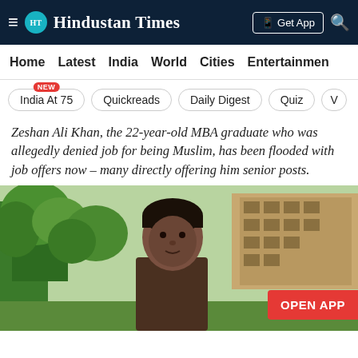HT Hindustan Times — Get App
Home   Latest   India   World   Cities   Entertainment
India At 75 (NEW)   Quickreads   Daily Digest   Quiz   V
Zeshan Ali Khan, the 22-year-old MBA graduate who was allegedly denied job for being Muslim, has been flooded with job offers now – many directly offering him senior posts.
[Figure (photo): Photo of Zeshan Ali Khan, a young man outdoors with trees and a building in the background. An orange 'OPEN APP' button overlay is visible at the bottom right.]